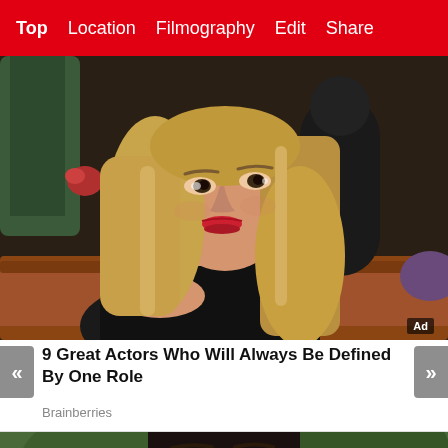Top  Location  Filmography  Edit  Share
[Figure (photo): Woman with long blonde hair sitting on a brown leather couch, looking to the side with a slightly bored or skeptical expression, wearing dark clothing, indoor setting]
9 Great Actors Who Will Always Be Defined By One Role
Brainberries
[Figure (photo): Close-up of a man with dark features looking directly at the camera, outdoor blurred background]